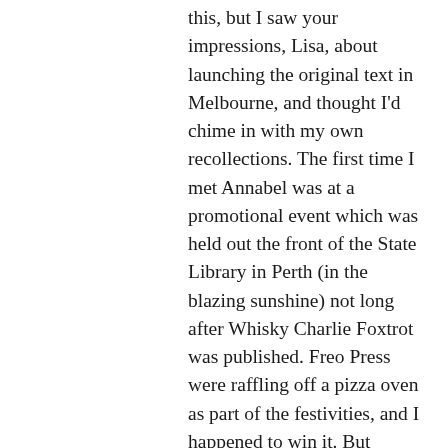this, but I saw your impressions, Lisa, about launching the original text in Melbourne, and thought I'd chime in with my own recollections. The first time I met Annabel was at a promotional event which was held out the front of the State Library in Perth (in the blazing sunshine) not long after Whisky Charlie Foxtrot was published. Freo Press were raffling off a pizza oven as part of the festivities, and I happened to win it. But because I'm a culinary sluggard, the pizza oven stayed firmly in its box for the next seven years. I